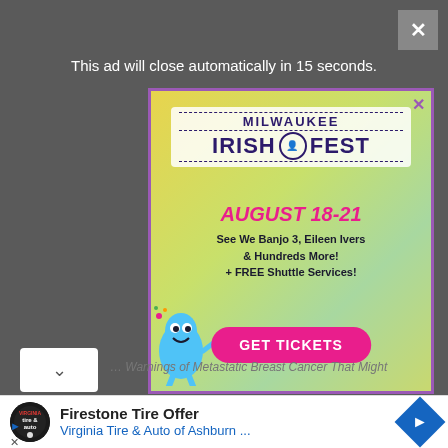This ad will close automatically in 15 seconds.
[Figure (infographic): Milwaukee Irish Fest advertisement. Shows logo 'MILWAUKEE IRISH@FEST', dates 'AUGUST 18-21', text 'See We Banjo 3, Eileen Ivers & Hundreds More! + FREE Shuttle Services!' and a pink 'GET TICKETS' button. A cartoon blue monster character appears at bottom left.]
Firestone Tire Offer
Virginia Tire & Auto of Ashburn ...